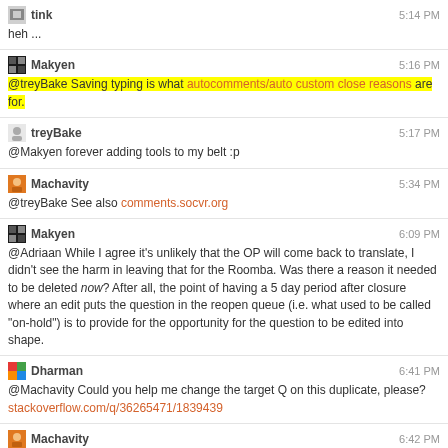tink 5:14 PM
heh ...
Makyen 5:16 PM
@treyBake Saving typing is what autocomments/auto custom close reasons are for.
treyBake 5:17 PM
@Makyen forever adding tools to my belt :p
Machavity 5:34 PM
@treyBake See also comments.socvr.org
Makyen 6:09 PM
@Adriaan While I agree it's unlikely that the OP will come back to translate, I didn't see the harm in leaving that for the Roomba. Was there a reason it needed to be deleted now? After all, the point of having a 5 day period after closure where an edit puts the question in the reopen queue (i.e. what used to be called "on-hold") is to provide for the opportunity for the question to be edited into shape.
Dharman 6:41 PM
@Machavity Could you help me change the target Q on this duplicate, please?
stackoverflow.com/q/36265471/1839439
Machavity 6:42 PM
@Dharman Done
→ 8 messages moved to SOCVR Request Graveyard
Dharman 6:43 PM